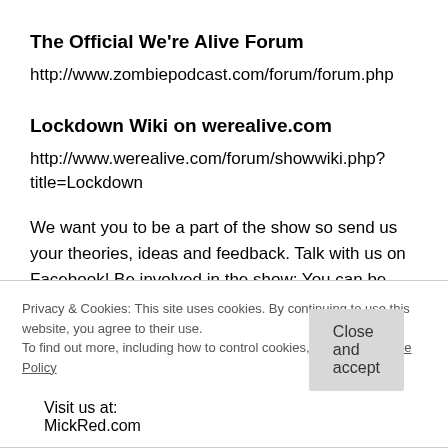The Official We're Alive Forum
http://www.zombiepodcast.com/forum/forum.php
Lockdown Wiki on werealive.com
http://www.werealive.com/forum/showwiki.php?title=Lockdown
We want you to be a part of the show so send us your theories, ideas and feedback. Talk with us on Facebook! Be involved in the show: You can be involved in the show by emailing us text or audio recordings to werealive@mickred.com or by calling (747) 333-8145 and
Privacy & Cookies: This site uses cookies. By continuing to use this website, you agree to their use.
To find out more, including how to control cookies, see here: Cookie Policy
Close and accept
Visit us at: MickRed.com